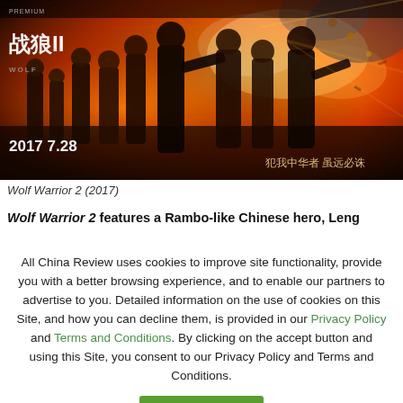[Figure (photo): Movie poster for Wolf Warrior 2 (2017), a Chinese action film. Shows multiple military figures against an explosive fiery background. Chinese title 战狼II and date 2017 7.28 visible. Chinese text reading 犯我中华者 虽远必诛 in bottom right corner.]
Wolf Warrior 2 (2017)
Wolf Warrior 2 features a Rambo-like Chinese hero, Leng
All China Review uses cookies to improve site functionality, provide you with a better browsing experience, and to enable our partners to advertise to you. Detailed information on the use of cookies on this Site, and how you can decline them, is provided in our Privacy Policy and Terms and Conditions. By clicking on the accept button and using this Site, you consent to our Privacy Policy and Terms and Conditions.